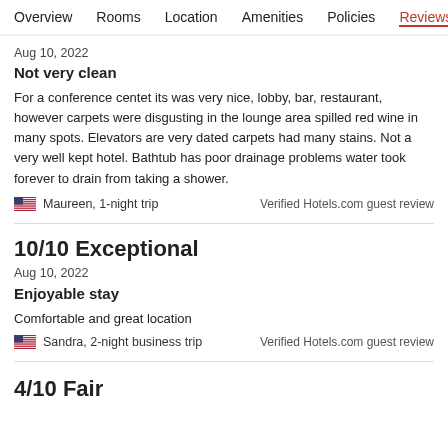Overview  Rooms  Location  Amenities  Policies  Reviews
Aug 10, 2022
Not very clean
For a conference centet its was very nice, lobby, bar, restaurant, however carpets were disgusting in the lounge area spilled red wine in many spots. Elevators are very dated carpets had many stains. Not a very well kept hotel. Bathtub has poor drainage problems water took forever to drain from taking a shower.
Maureen, 1-night trip
Verified Hotels.com guest review
10/10 Exceptional
Aug 10, 2022
Enjoyable stay
Comfortable and great location
Sandra, 2-night business trip
Verified Hotels.com guest review
4/10 Fair